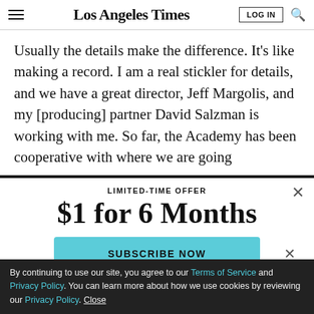Los Angeles Times
Usually the details make the difference. It's like making a record. I am a real stickler for details, and we have a great director, Jeff Margolis, and my [producing] partner David Salzman is working with me. So far, the Academy has been cooperative with where we are going
LIMITED-TIME OFFER
$1 for 6 Months
SUBSCRIBE NOW
By continuing to use our site, you agree to our Terms of Service and Privacy Policy. You can learn more about how we use cookies by reviewing our Privacy Policy. Close